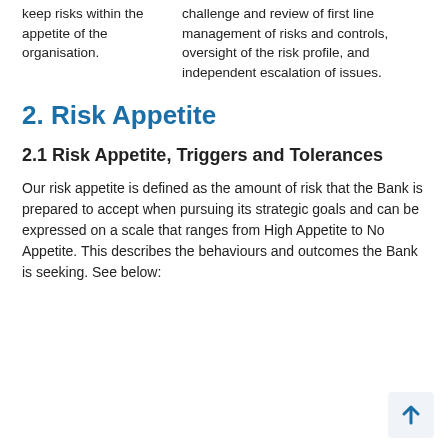keep risks within the appetite of the organisation.
challenge and review of first line management of risks and controls, oversight of the risk profile, and independent escalation of issues.
2. Risk Appetite
2.1 Risk Appetite, Triggers and Tolerances
Our risk appetite is defined as the amount of risk that the Bank is prepared to accept when pursuing its strategic goals and can be expressed on a scale that ranges from High Appetite to No Appetite. This describes the behaviours and outcomes the Bank is seeking. See below: